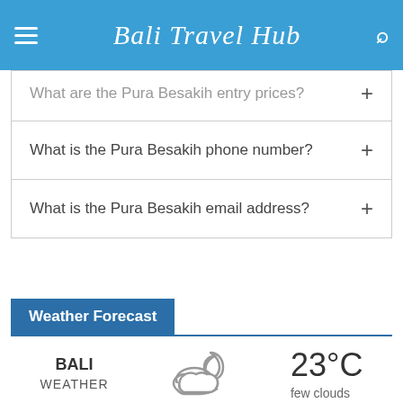Bali Travel Hub
What are the Pura Besakih entry prices?
What is the Pura Besakih phone number?
What is the Pura Besakih email address?
Weather Forecast
[Figure (infographic): Bali weather widget showing cloud-and-moon icon, temperature 23°C, description 'few clouds']